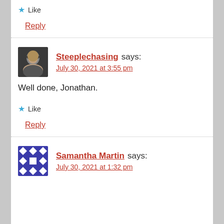★ Like
Reply
Steeplechasing says: July 30, 2021 at 3:55 pm
Well done, Jonathan.
★ Like
Reply
Samantha Martin says: July 30, 2021 at 1:32 pm